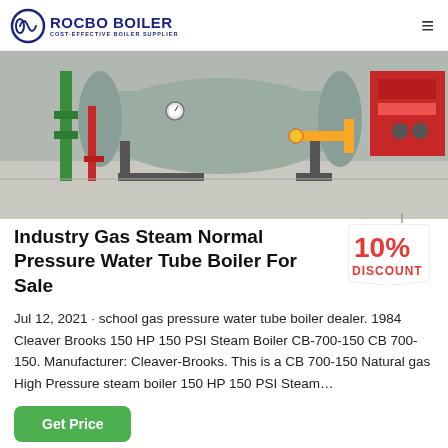ROCBO BOILER — COST-EFFECTIVE BOILER SUPPLIER
[Figure (photo): Industrial gas steam boiler installation in a factory setting with green pipes, red pipes, yellow gas fittings, gauges, and a red burner unit on the right side]
Industry Gas Steam Normal Pressure Water Tube Boiler For Sale
[Figure (illustration): 10% DISCOUNT badge — red text on a hanging tag shape]
Jul 12, 2021 · school gas pressure water tube boiler dealer. 1984 Cleaver Brooks 150 HP 150 PSI Steam Boiler CB-700-150 CB 700-150. Manufacturer: Cleaver-Brooks. This is a CB 700-150 Natural gas High Pressure steam boiler 150 HP 150 PSI Steam…